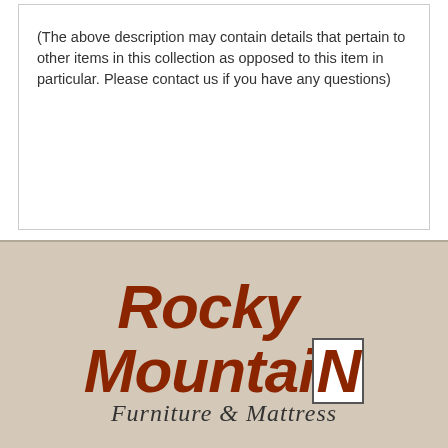(The above description may contain details that pertain to other items in this collection as opposed to this item in particular. Please contact us if you have any questions)
[Figure (logo): Rocky Mountain Furniture & Mattress logo in dark brown/rust color with large bold italic text for 'Rocky Mountain' and cursive script for 'Furniture & Mattress' underneath. The letter N in Mountain appears in a white box outline.]